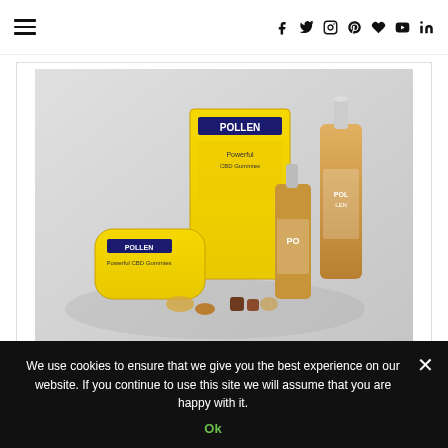Navigation bar with hamburger menu and social icons: f, twitter, instagram, pinterest, heart, youtube, linkedin
[Figure (photo): Pollen brand CBD product lineup — yellow box packaging labeled POLLEN with Powerful CBD Gummies, a pillow box also labeled POLLEN Powerful CBD Gummies, and two amber glass dropper bottles, with crystals and gummies scattered on a light gray background.]
[Figure (photo): Partial second product photo — cut off by cookie consent banner.]
We use cookies to ensure that we give you the best experience on our website. If you continue to use this site we will assume that you are happy with it.
Ok